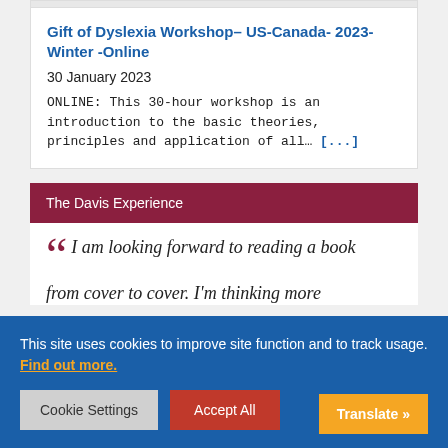Gift of Dyslexia Workshop– US-Canada- 2023-Winter -Online
30 January 2023
ONLINE: This 30-hour workshop is an introduction to the basic theories, principles and application of all… [...]
The Davis Experience
I am looking forward to reading a book from cover to cover. I'm thinking more
This site uses cookies to improve site function and to track usage. Find out more.
Cookie Settings
Accept All
Translate »